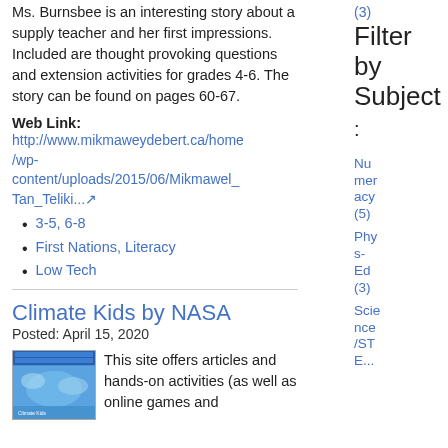Ms. Burnsbee is an interesting story about a supply teacher and her first impressions. Included are thought provoking questions and extension activities for grades 4-6. The story can be found on pages 60-67.
Web Link: http://www.mikmaweydebert.ca/home/wp-content/uploads/2015/06/Mikmawel_Tan_Teliki...
3-5, 6-8
First Nations, Literacy
Low Tech
Climate Kids by NASA
Posted: April 15, 2020
This site offers articles and hands-on activities (as well as online games and
Filter by Subject :
(3)
Numeracy (5)
Phys-Ed (3)
Science/ST...